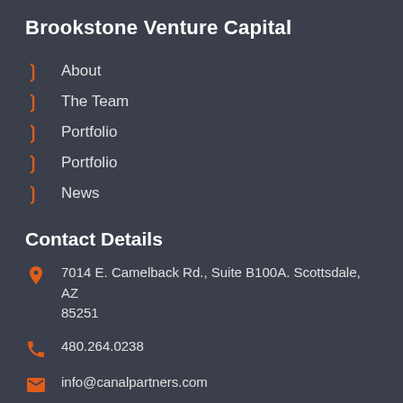Brookstone Venture Capital
About
The Team
Portfolio
Portfolio
News
Contact Details
7014 E. Camelback Rd., Suite B100A. Scottsdale, AZ 85251
480.264.0238
info@canalpartners.com